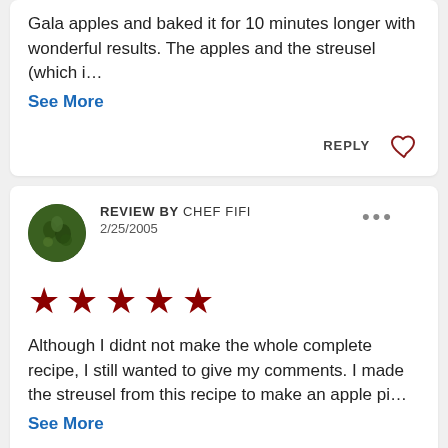Gala apples and baked it for 10 minutes longer with wonderful results. The apples and the streusel (which i...
See More
REPLY
REVIEW BY CHEF FIFI
2/25/2005
[Figure (other): Five red stars rating]
Although I didnt not make the whole complete recipe, I still wanted to give my comments. I made the streusel from this recipe to make an apple pi...
See More
REPLY